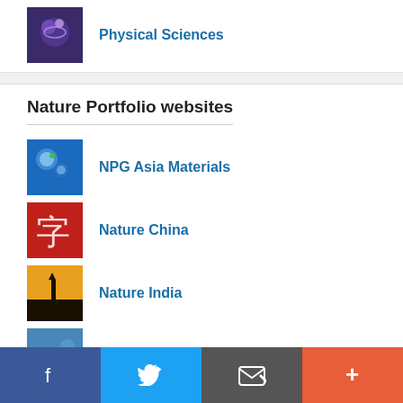Physical Sciences
Nature Portfolio websites
NPG Asia Materials
Nature China
Nature India
Nature Middle East
Hot Topics
Research highlights
[Figure (screenshot): Social media sharing bar with Facebook, Twitter, email, and more buttons]